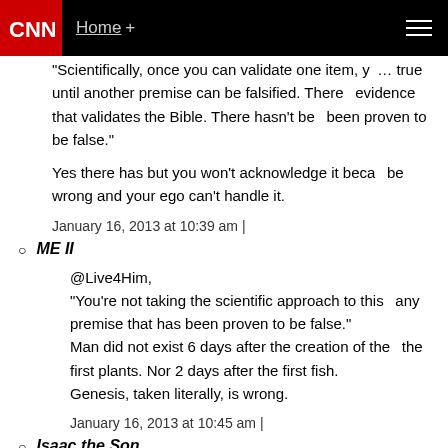CNN | Home +
"Scientifically, once you can validate one item, you consider it true until another premise can be falsified. There is overwhelming evidence that validates the Bible. There hasn't been anything that's been proven to be false."
Yes there has but you won't acknowledge it because it means you'd be wrong and your ego can't handle it.
January 16, 2013 at 10:39 am |
ME II
@Live4Him,
"You're not taking the scientific approach to this if you ignore any premise that has been proven to be false."
Man did not exist 6 days after the creation of the earth, or 2 days after the first plants. Nor 2 days after the first fish. Genesis, taken literally, is wrong.
January 16, 2013 at 10:45 am |
Isaac the Son